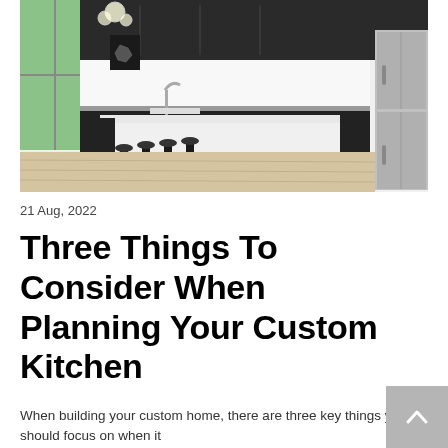[Figure (photo): Modern custom kitchen with dark cabinetry, white island with bar stools, stainless steel refrigerator, and light wood flooring. Chandelier visible in upper left corner.]
21 Aug, 2022
Three Things To Consider When Planning Your Custom Kitchen
When building your custom home, there are three key things you should focus on when it